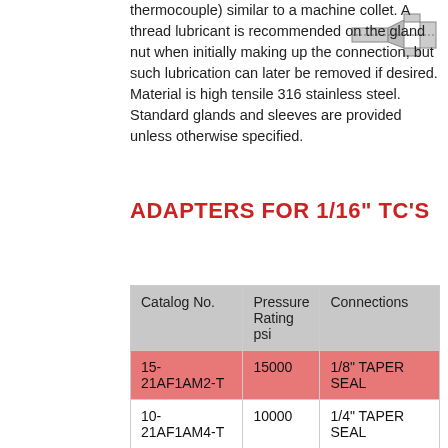thermocouple) similar to a machine collet. A thread lubricant is recommended on the gland nut when initially making up the connection, but such lubrication can later be removed if desired. Material is high tensile 316 stainless steel. Standard glands and sleeves are provided unless otherwise specified.
[Figure (engineering-diagram): Cross-section schematic of a compression fitting/collet adapter for a thermocouple, showing the gland nut and sleeve profile.]
ADAPTERS FOR 1/16" TC'S
| Catalog No. | Pressure Rating psi | Connections |
| --- | --- | --- |
| 15-21AF1AM2-T | 15000 | 1/8" TAPER SEAL |
| 10-21AF1AM4-T | 10000 | 1/4" TAPER SEAL |
| 10-21AF1AM6-T | 10000 | 3/8" TAPER SEAL |